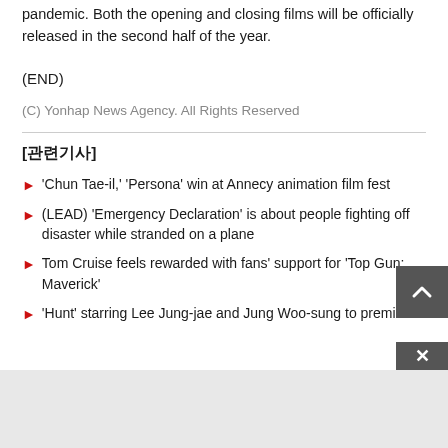pandemic. Both the opening and closing films will be officially released in the second half of the year.
(END)
(C) Yonhap News Agency. All Rights Reserved
[관련기사]
'Chun Tae-il,' 'Persona' win at Annecy animation film fest
(LEAD) 'Emergency Declaration' is about people fighting off disaster while stranded on a plane
Tom Cruise feels rewarded with fans' support for 'Top Gun: Maverick'
'Hunt' starring Lee Jung-jae and Jung Woo-sung to premier